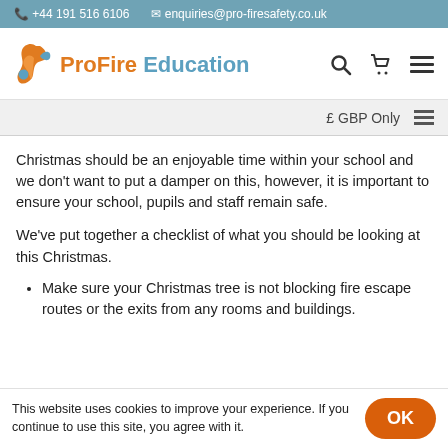+44 191 516 6106   enquiries@pro-firesafety.co.uk
[Figure (logo): ProFire Education logo with flame bird icon]
£ GBP Only
Christmas should be an enjoyable time within your school and we don't want to put a damper on this, however, it is important to ensure your school, pupils and staff remain safe.
We've put together a checklist of what you should be looking at this Christmas.
Make sure your Christmas tree is not blocking fire escape routes or the exits from any rooms and buildings.
This website uses cookies to improve your experience. If you continue to use this site, you agree with it.